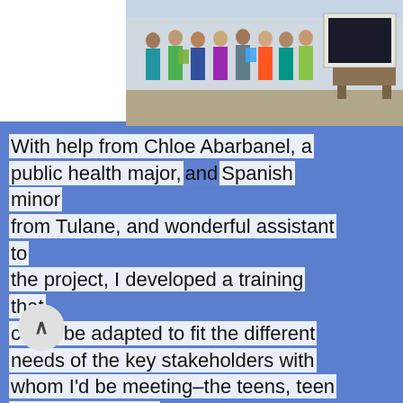[Figure (photo): Group photo of people standing together in a room, partially visible at the top of the page. A whiteboard or screen is visible in the background.]
With help from Chloe Abarbanel, a public health major, and Spanish minor from Tulane, and wonderful assistant to the project, I developed a training that could be adapted to fit the different needs of the key stakeholders with whom I'd be meeting–the teens, teen leaders, parents, and promotores. Components of the training included information about the risks of early pregnancy including an interactive game that demonstrated the financial burdens placed on large [families], strategies for safe and non-sexual ways to be close and have fun